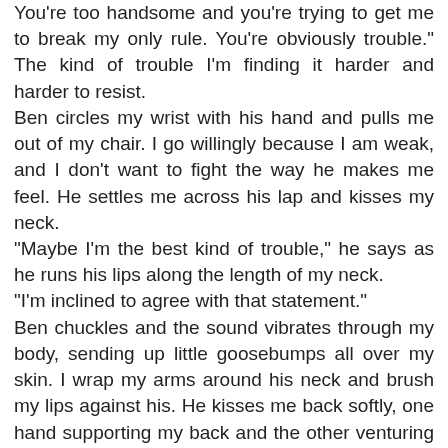You're too handsome and you're trying to get me to break my only rule. You're obviously trouble." The kind of trouble I'm finding it harder and harder to resist.
Ben circles my wrist with his hand and pulls me out of my chair. I go willingly because I am weak, and I don't want to fight the way he makes me feel. He settles me across his lap and kisses my neck.
"Maybe I'm the best kind of trouble," he says as he runs his lips along the length of my neck.
"I'm inclined to agree with that statement."
Ben chuckles and the sound vibrates through my body, sending up little goosebumps all over my skin. I wrap my arms around his neck and brush my lips against his. He kisses me back softly, one hand supporting my back and the other venturing up my thigh. Every second he spends touching me ratchets up my desire and every tiny movement makes me more and more aware of how wet I am. I'm seriously in danger of needing a new pair of panties, but I